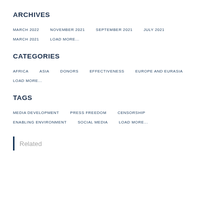ARCHIVES
MARCH 2022
NOVEMBER 2021
SEPTEMBER 2021
JULY 2021
MARCH 2021
LOAD MORE...
CATEGORIES
AFRICA
ASIA
DONORS
EFFECTIVENESS
EUROPE AND EURASIA
LOAD MORE...
TAGS
MEDIA DEVELOPMENT
PRESS FREEDOM
CENSORSHIP
ENABLING ENVIRONMENT
SOCIAL MEDIA
LOAD MORE...
Related